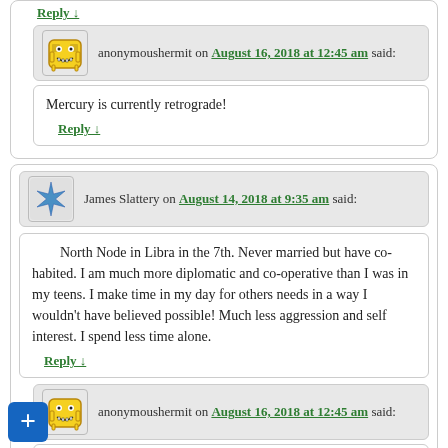Reply ↓
anonymoushermit on August 16, 2018 at 12:45 am said:
Mercury is currently retrograde!
Reply ↓
James Slattery on August 14, 2018 at 9:35 am said:
North Node in Libra in the 7th. Never married but have co-habited. I am much more diplomatic and co-operative than I was in my teens. I make time in my day for others needs in a way I wouldn't have believed possible! Much less aggression and self interest. I spend less time alone.
Reply ↓
anonymoushermit on August 16, 2018 at 12:45 am said:
Glad you're moving forward.
Reply ↓